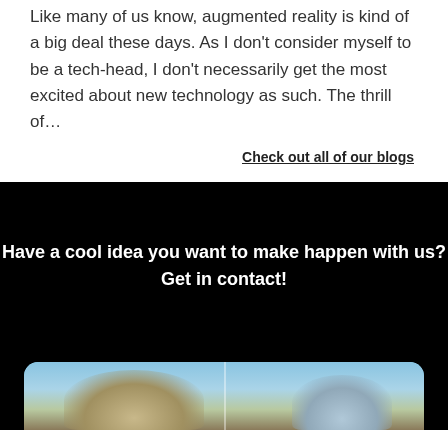Like many of us know, augmented reality is kind of a big deal these days. As I don't consider myself to be a tech-head, I don't necessarily get the most excited about new technology as such. The thrill of…
Check out all of our blogs
Have a cool idea you want to make happen with us? Get in contact!
[Figure (photo): Two side-by-side photos of winter trees with frost against a blue sky, shown in a rounded rectangle container.]